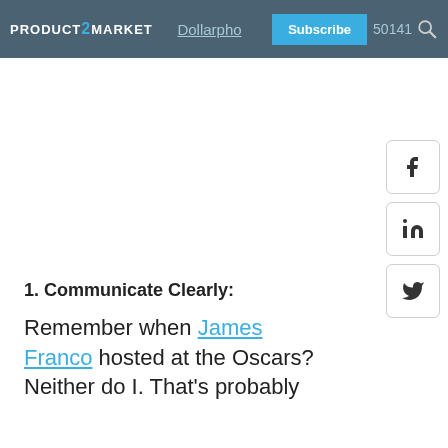PRODUCT2MARKET | Dollarphoto | Subscribe | 50141
1. Communicate Clearly:
Remember when James Franco hosted at the Oscars? Neither do I. That's probably